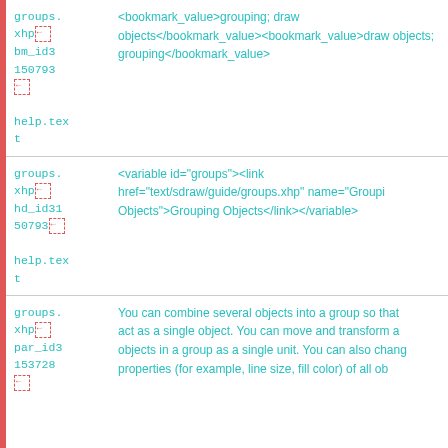| ID | Content |
| --- | --- |
| groups.
xhp
bm_id3
150793

help.tex
t | <bookmark_value>grouping; draw objects</bookmark_value><bookmark_value>draw objects; grouping</bookmark_value> |
| groups.
xhp
hd_id31
50793

help.tex
t | <variable id="groups"><link href="text/sdraw/guide/groups.xhp" name="Grouping Objects">Grouping Objects</link></variable> |
| groups.
xhp
par_id3
153728
 | You can combine several objects into a group so that act as a single object. You can move and transform a objects in a group as a single unit. You can also chang properties (for example, line size, fill color) of all ob |